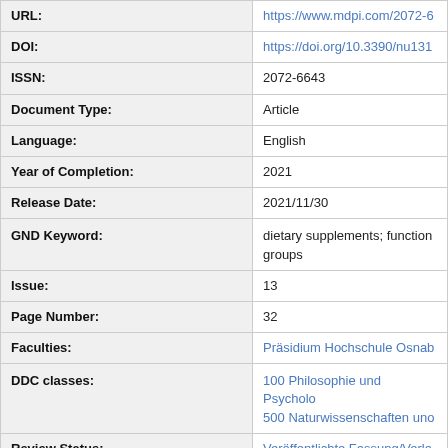| Field | Value |
| --- | --- |
| URL: | https://www.mdpi.com/2072-6... |
| DOI: | https://doi.org/10.3390/nu131... |
| ISSN: | 2072-6643 |
| Document Type: | Article |
| Language: | English |
| Year of Completion: | 2021 |
| Release Date: | 2021/11/30 |
| GND Keyword: | dietary supplements; function... groups |
| Issue: | 13 |
| Page Number: | 32 |
| Faculties: | Präsidium Hochschule Osnab... |
| DDC classes: | 100 Philosophie und Psycholo...
500 Naturwissenschaften uno... |
| Review Status: | Veröffentlichte Fassung/Verla... |
| Licence (German): | Creative Com... |